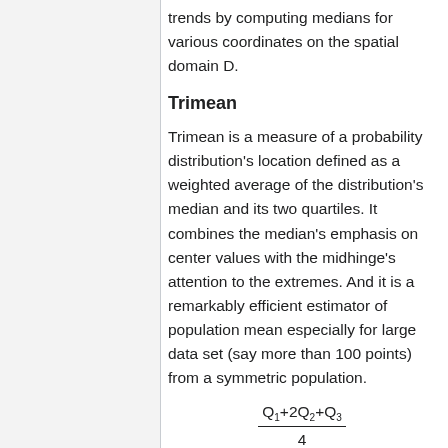trends by computing medians for various coordinates on the spatial domain D.
Trimean
Trimean is a measure of a probability distribution's location defined as a weighted average of the distribution's median and its two quartiles. It combines the median's emphasis on center values with the midhinge's attention to the extremes. And it is a remarkably efficient estimator of population mean especially for large data set (say more than 100 points) from a symmetric population.
Applications
This article provides a thorough introduction to EDA. It discusses the basic concepts, objectives, and